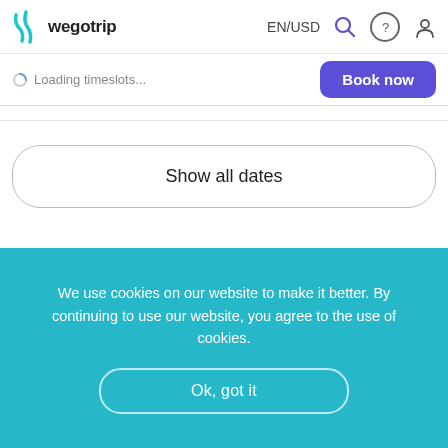wegotrip  EN/USD
Loading timeslots...
Book now
Show all dates
Didn't like the tour? Get a refund!
[Figure (illustration): Hand holding a phone with a chat bubble and heart icon]
We use cookies on our website to make it better. By continuing to use our website, you agree to the use of cookies.
Ok, got it